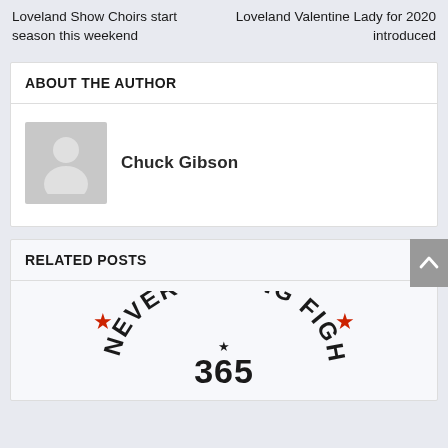Loveland Show Choirs start season this weekend
Loveland Valentine Lady for 2020 introduced
ABOUT THE AUTHOR
Chuck Gibson
RELATED POSTS
[Figure (logo): Never Ending Fight 365 logo with red stars and arched text]